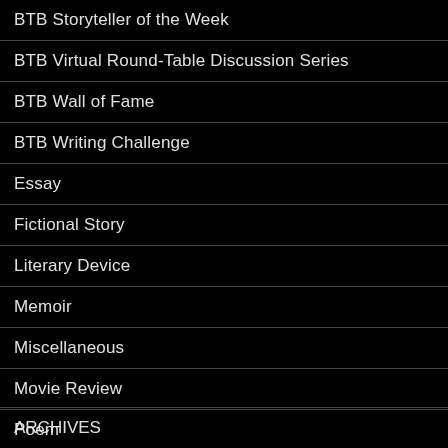BTB Storyteller of the Week
BTB Virtual Round-Table Discussion Series
BTB Wall of Fame
BTB Writing Challenge
Essay
Fictional Story
Literary Device
Memoir
Miscellaneous
Movie Review
Poem
ARCHIVES